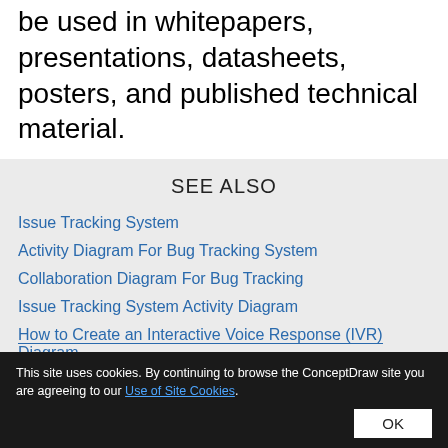be used in whitepapers, presentations, datasheets, posters, and published technical material.
SEE ALSO
Issue Tracking System
Activity Diagram For Bug Tracking System
Collaboration Diagram For Bug Tracking
Issue Tracking System Activity Diagram
How to Create an Interactive Voice Response (IVR) Diagram
This site uses cookies. By continuing to browse the ConceptDraw site you are agreeing to our Use of Site Cookies.